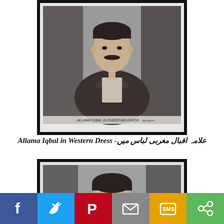[Figure (photo): Black and white framed photograph of Allama Iqbal in Western dress (suit with bow tie), bust-length portrait. Caption text on photo reads 'ALLAMA IQBAL IN CHRISTIAN DRESS'.]
علامہ اقبال مغربی لباس میں - Allama Iqbal in Western Dress
[Figure (photo): Black and white framed photograph showing a younger man's face, cropped at top of frame, partial portrait.]
f  (Twitter bird)  (Pinterest P)  (envelope)  SMS  (share icon)